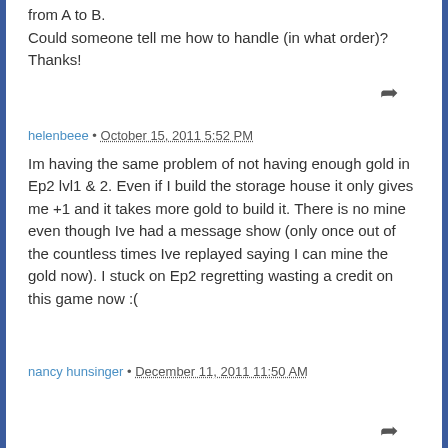from A to B.

Could someone tell me how to handle (in what order)? Thanks!
helenbeee • October 15, 2011 5:52 PM
Im having the same problem of not having enough gold in Ep2 lvl1 & 2. Even if I build the storage house it only gives me +1 and it takes more gold to build it. There is no mine even though Ive had a message show (only once out of the countless times Ive replayed saying I can mine the gold now). I stuck on Ep2 regretting wasting a credit on this game now :(
nancy hunsinger • December 11, 2011 11:50 AM